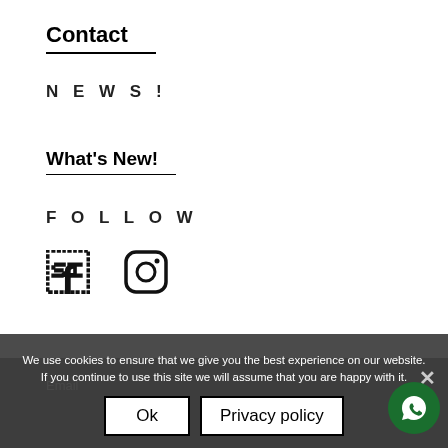Contact
NEWS!
What's New!
FOLLOW
[Figure (illustration): Facebook and Instagram social media icons]
We use cookies to ensure that we give you the best experience on our website. If you continue to use this site we will assume that you are happy with it.
Ok
Privacy policy
Email